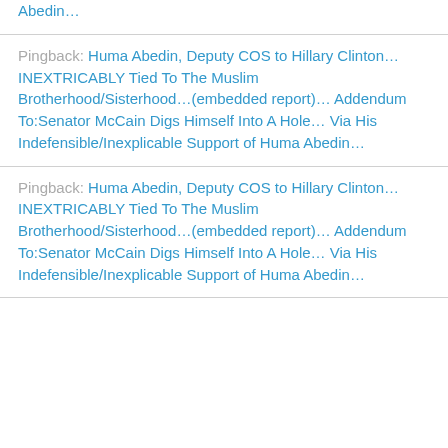Abedin…
Pingback: Huma Abedin, Deputy COS to Hillary Clinton… INEXTRICABLY Tied To The Muslim Brotherhood/Sisterhood…(embedded report)… Addendum To:Senator McCain Digs Himself Into A Hole… Via His Indefensible/Inexplicable Support of Huma Abedin…
Pingback: Huma Abedin, Deputy COS to Hillary Clinton… INEXTRICABLY Tied To The Muslim Brotherhood/Sisterhood…(embedded report)… Addendum To:Senator McCain Digs Himself Into A Hole… Via His Indefensible/Inexplicable Support of Huma Abedin…